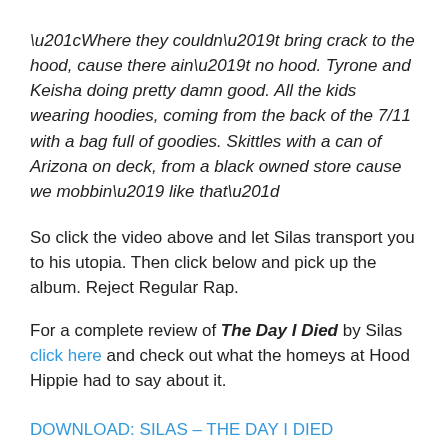“Where they couldn’t bring crack to the hood, cause there ain’t no hood. Tyrone and Keisha doing pretty damn good. All the kids wearing hoodies, coming from the back of the 7/11 with a bag full of goodies. Skittles with a can of Arizona on deck, from a black owned store cause we mobbin’ like that”
So click the video above and let Silas transport you to his utopia. Then click below and pick up the album. Reject Regular Rap.
For a complete review of The Day I Died by Silas click here and check out what the homeys at Hood Hippie had to say about it.
DOWNLOAD: SILAS – THE DAY I DIED